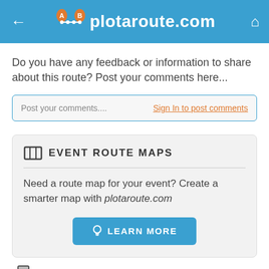plotaroute.com
Do you have any feedback or information to share about this route? Post your comments here...
[Figure (screenshot): Comment input box with placeholder 'Post your comments....' and 'Sign In to post comments' link on the right]
EVENT ROUTE MAPS
Need a route map for your event? Create a smarter map with plotaroute.com
[Figure (other): LEARN MORE button with lightbulb icon]
SEARCH FOR ACCOMMODATION